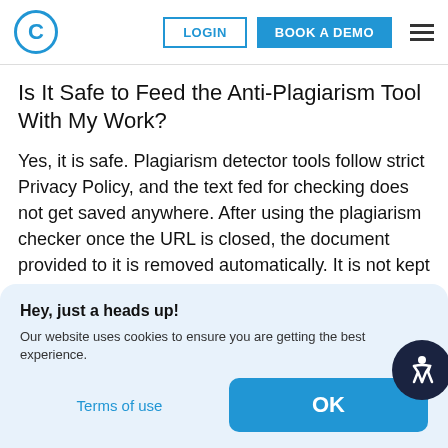C  LOGIN  BOOK A DEMO  ≡
Is It Safe to Feed the Anti-Plagiarism Tool With My Work?
Yes, it is safe. Plagiarism detector tools follow strict Privacy Policy, and the text fed for checking does not get saved anywhere. After using the plagiarism checker once the URL is closed, the document provided to it is removed automatically. It is not kept in any database, and so there is no risk of theft of someone's precious hard work.
Hey, just a heads up!
Our website uses cookies to ensure you are getting the best experience.
Terms of use   OK